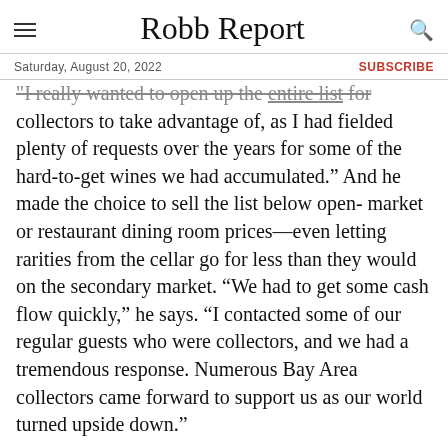Robb Report
Saturday, August 20, 2022 | SUBSCRIBE
"I really wanted to open up the entire list for collectors to take advantage of, as I had fielded plenty of requests over the years for some of the hard-to-get wines we had accumulated.” And he made the choice to sell the list below open-market or restaurant dining room prices—even letting rarities from the cellar go for less than they would on the secondary market. “We had to get some cash flow quickly,” he says. “I contacted some of our regular guests who were collectors, and we had a tremendous response. Numerous Bay Area collectors came forward to support us as our world turned upside down.”